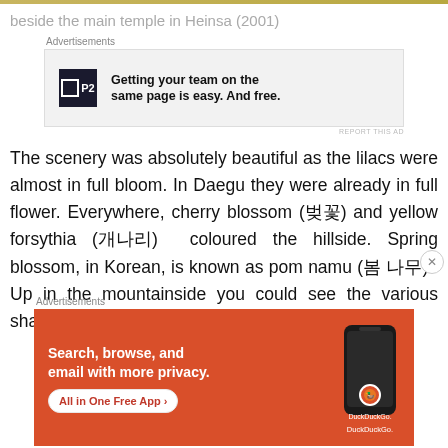beside the main temple in Heinsa (2001)
[Figure (other): Advertisement banner: P2 logo with text 'Getting your team on the same page is easy. And free.']
The scenery was absolutely beautiful as the lilacs were almost in full bloom. In Daegu they were already in full flower. Everywhere, cherry blossom (벚꽃) and yellow forsythia (개나리) coloured the hillside. Spring blossom, in Korean, is known as pom namu (봄 나무). Up in the mountainside you could see the various shades of green
[Figure (other): DuckDuckGo advertisement: orange background with text 'Search, browse, and email with more privacy. All in One Free App' and a phone image with DuckDuckGo logo.]